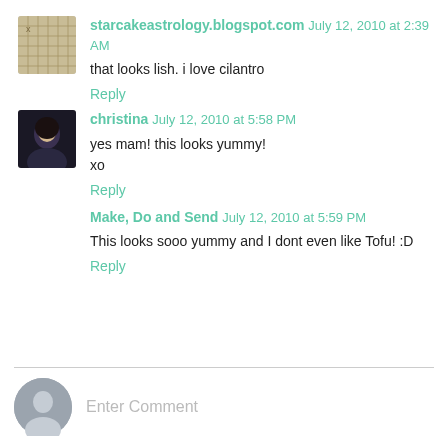[Figure (photo): Small avatar thumbnail showing a grid/paper texture image]
starcakeastrology.blogspot.com July 12, 2010 at 2:39 AM
that looks lish. i love cilantro
Reply
[Figure (photo): Small avatar thumbnail showing a dark photo of a person]
christina July 12, 2010 at 5:58 PM
yes mam! this looks yummy!
xo
Reply
Make, Do and Send July 12, 2010 at 5:59 PM
This looks sooo yummy and I dont even like Tofu! :D
Reply
[Figure (illustration): Generic gray user avatar silhouette circle]
Enter Comment